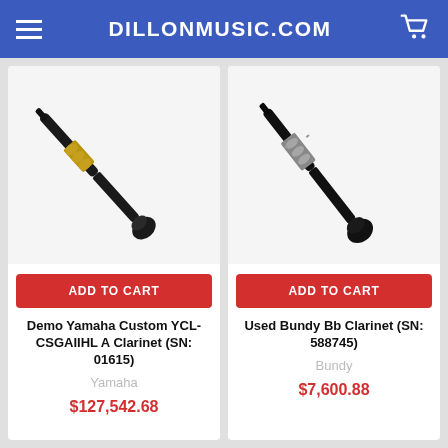DILLONMUSIC.COM
[Figure (photo): Photo of a clarinet with gold-colored keys on a light background — Demo Yamaha Custom YCL-CSGAIIHL A Clarinet]
ADD TO CART
Demo Yamaha Custom YCL-CSGAIIHL A Clarinet (SN: 01615)
Yamaha
$127,542.68
[Figure (photo): Photo of a clarinet with silver-colored keys on a light background — Used Bundy Bb Clarinet]
ADD TO CART
Used Bundy Bb Clarinet (SN: 588745)
Bundy
$7,600.88